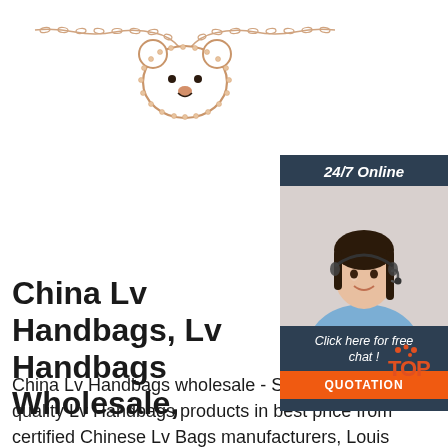[Figure (photo): Rose gold bear face necklace with crystal/diamond accents on a chain, shown on white background]
[Figure (photo): 24/7 Online customer service widget with a photo of a smiling woman wearing a headset, a 'Click here for free chat!' message, and an orange QUOTATION button]
China Lv Handbags, Lv Handbags Wholesale,
China Lv Handbags wholesale - Select 2021 high quality Lv Handbags products in best price from certified Chinese Lv Bags manufacturers, Louis Vuitton Bags suppliers, wholesalers and factory on